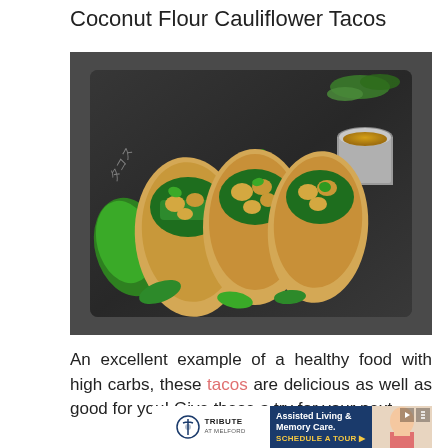Coconut Flour Cauliflower Tacos
[Figure (photo): Overhead photo of three coconut flour cauliflower tacos arranged on a dark slate board with jalapeño peppers, cilantro, avocado, and a small metal cup of dipping sauce]
An excellent example of a healthy food with high carbs, these tacos are delicious as well as good for you! Give these a try for your next
[Figure (other): Advertisement for Tribute at Melford Assisted Living & Memory Care — Schedule a Tour]